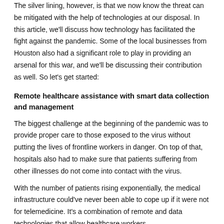The silver lining, however, is that we now know the threat can be mitigated with the help of technologies at our disposal. In this article, we'll discuss how technology has facilitated the fight against the pandemic. Some of the local businesses from Houston also had a significant role to play in providing an arsenal for this war, and we'll be discussing their contribution as well. So let's get started:
Remote healthcare assistance with smart data collection and management
The biggest challenge at the beginning of the pandemic was to provide proper care to those exposed to the virus without putting the lives of frontline workers in danger. On top of that, hospitals also had to make sure that patients suffering from other illnesses do not come into contact with the virus.
With the number of patients rising exponentially, the medical infrastructure could've never been able to cope up if it were not for telemedicine. It's a combination of remote and data technologies that allow healthcare workers